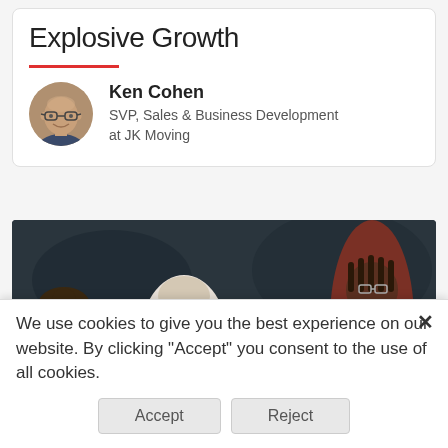Explosive Growth
[Figure (photo): Circular avatar photo of Ken Cohen, a middle-aged bald man with glasses, smiling]
Ken Cohen
SVP, Sales & Business Development at JK Moving
[Figure (photo): Group photo of diverse people smiling, dark background with automotive elements]
We use cookies to give you the best experience on our website. By clicking "Accept" you consent to the use of all cookies.
Accept   Reject